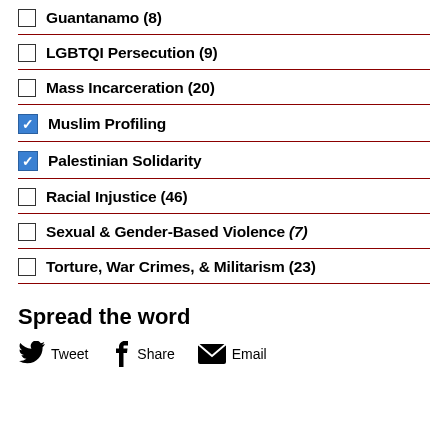Guantanamo (8)
LGBTQI Persecution (9)
Mass Incarceration (20)
Muslim Profiling [checked]
Palestinian Solidarity [checked]
Racial Injustice (46)
Sexual & Gender-Based Violence (7)
Torture, War Crimes, & Militarism (23)
Spread the word
Tweet  Share  Email